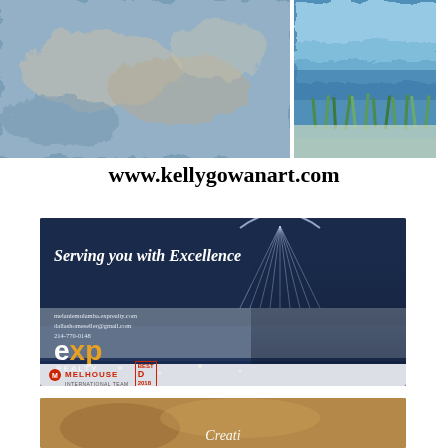[Figure (photo): Two abstract art paintings side by side — left: textured blue and beige/gold abstract painting; right: blue ocean wave with sea grass painting]
www.kellygowanart.com
[Figure (photo): eXp Realty advertisement banner with dark blue background, Margaret Hunt Hill bridge, two real estate agents (Melanie Mulamba team), text 'Serving you with Excellence', contact info and eXp Realty / Melhouse International Team logos]
[Figure (photo): Bottom partial image strip with warm golden/brown tones, partially cut off]